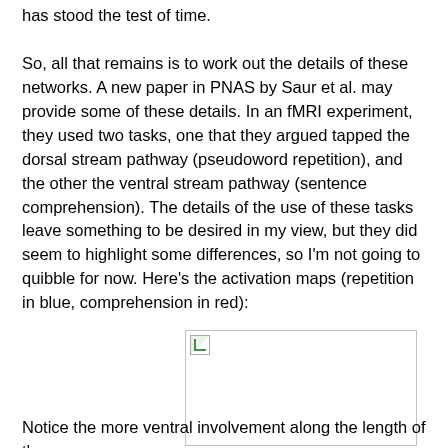has stood the test of time.
So, all that remains is to work out the details of these networks. A new paper in PNAS by Saur et al. may provide some of these details. In an fMRI experiment, they used two tasks, one that they argued tapped the dorsal stream pathway (pseudoword repetition), and the other the ventral stream pathway (sentence comprehension). The details of the use of these tasks leave something to be desired in my view, but they did seem to highlight some differences, so I'm not going to quibble for now. Here's the activation maps (repetition in blue, comprehension in red):
[Figure (photo): Broken image placeholder showing fMRI activation maps with repetition in blue and comprehension in red]
Notice the more ventral involvement along the length of the